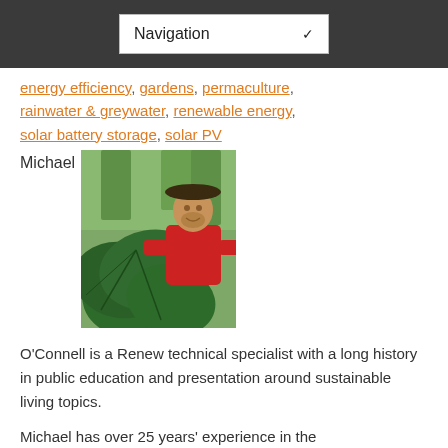Navigation
energy efficiency, gardens, permaculture, rainwater & greywater, renewable energy, solar battery storage, solar PV
Michael
[Figure (photo): Man in red shirt and dark hat standing behind large tropical plant leaves outdoors]
O’Connell is a Renew technical specialist with a long history in public education and presentation around sustainable living topics.
Michael has over 25 years’ experience in the